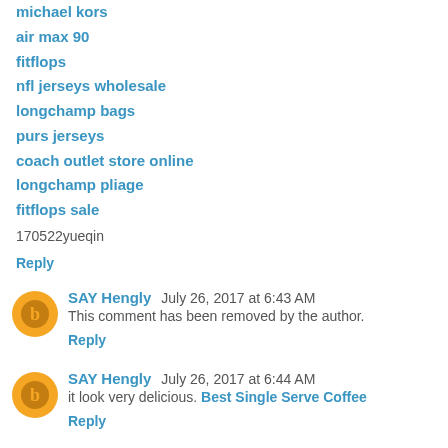michael kors
air max 90
fitflops
nfl jerseys wholesale
longchamp bags
purs jerseys
coach outlet store online
longchamp pliage
fitflops sale
170522yueqin
Reply
SAY Hengly  July 26, 2017 at 6:43 AM
This comment has been removed by the author.
Reply
SAY Hengly  July 26, 2017 at 6:44 AM
it look very delicious. Best Single Serve Coffee
Reply